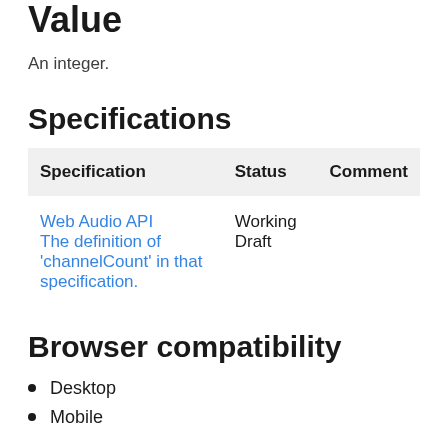Value
An integer.
Specifications
| Specification | Status | Comment |
| --- | --- | --- |
| Web Audio API
The definition of 'channelCount' in that specification. | Working Draft |  |
Browser compatibility
Desktop
Mobile